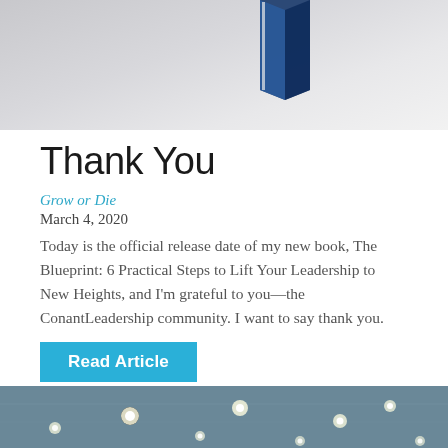[Figure (photo): Top portion of a book cover image on a gray gradient background, partially cropped]
Thank You
Grow or Die
March 4, 2020
Today is the official release date of my new book, The Blueprint: 6 Practical Steps to Lift Your Leadership to New Heights, and I'm grateful to you—the ConantLeadership community. I want to say thank you.
[Figure (other): Cyan/teal button labeled 'Read Article']
[Figure (photo): Bottom portion showing ceiling with hanging light bulbs in a dark ambiance, partially cropped]